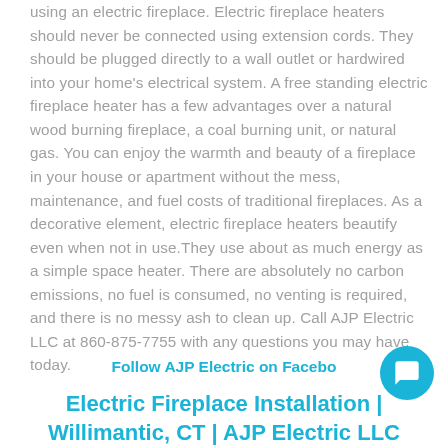using an electric fireplace. Electric fireplace heaters should never be connected using extension cords. They should be plugged directly to a wall outlet or hardwired into your home's electrical system. A free standing electric fireplace heater has a few advantages over a natural wood burning fireplace, a coal burning unit, or natural gas. You can enjoy the warmth and beauty of a fireplace in your house or apartment without the mess, maintenance, and fuel costs of traditional fireplaces. As a decorative element, electric fireplace heaters beautify even when not in use.They use about as much energy as a simple space heater. There are absolutely no carbon emissions, no fuel is consumed, no venting is required, and there is no messy ash to clean up. Call AJP Electric LLC at 860-875-7755 with any questions you may have today.
Follow AJP Electric on Facebook
Electric Fireplace Installation | Willimantic, CT | AJP Electric LLC